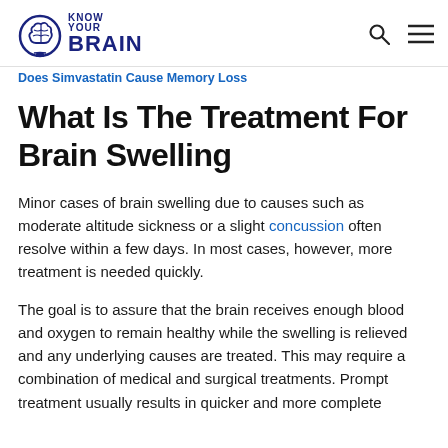Know Your Brain — navigation header with search and menu icons
Does Simvastatin Cause Memory Loss
What Is The Treatment For Brain Swelling
Minor cases of brain swelling due to causes such as moderate altitude sickness or a slight concussion often resolve within a few days. In most cases, however, more treatment is needed quickly.
The goal is to assure that the brain receives enough blood and oxygen to remain healthy while the swelling is relieved and any underlying causes are treated. This may require a combination of medical and surgical treatments. Prompt treatment usually results in quicker and more complete